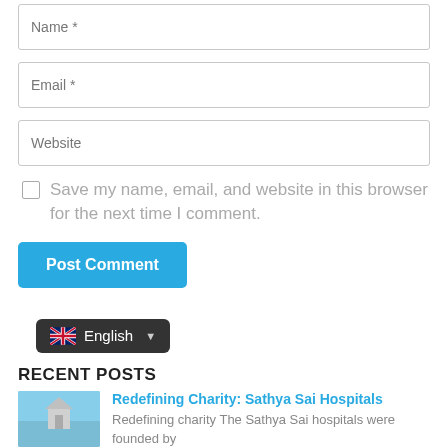Name *
Email *
Website
Save my name, email, and website in this browser for the next time I comment.
Post Comment
[Figure (screenshot): Language selector button showing UK flag and 'English' label with dropdown arrow, dark background]
RECENT POSTS
Redefining Charity: Sathya Sai Hospitals
Redefining charity The Sathya Sai hospitals were founded by